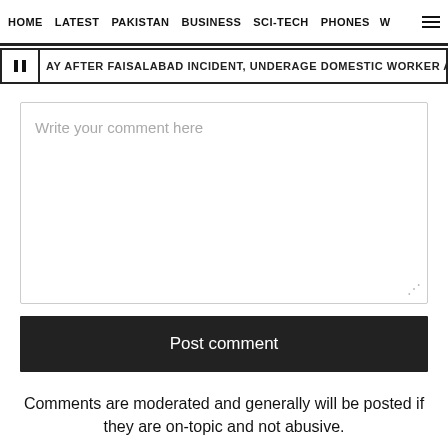HOME   LATEST   PAKISTAN   BUSINESS   SCI-TECH   PHONES   W
AY AFTER FAISALABAD INCIDENT, UNDERAGE DOMESTIC WORKER ABUSED BY HER EM
Write your comment here
Post comment
Comments are moderated and generally will be posted if they are on-topic and not abusive.
For more information, please see our Comments FAQ
Advertisement